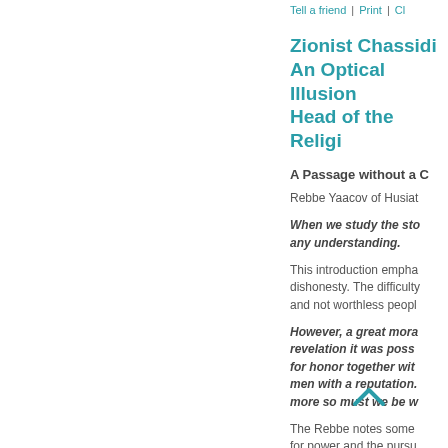Tell a friend | Print | Cl...
Zionist Chassidi... An Optical Illusion... Head of the Religi...
A Passage without a C...
Rebbe Yaacov of Husiat...
When we study the sto... any understanding.
This introduction empha... dishonesty. The difficulty... and not worthless peopl...
However, a great mora... revelation it was poss... for honor together wit... men with a reputation.... more so must we be w...
The Rebbe notes some... for power and the pursu... activity: Sha... desecr... that is so very hard to de... serve the people? Who... nation? Does the Rebbe...